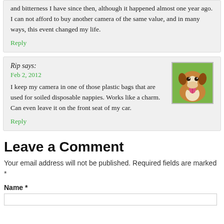and bitterness I have since then, although it happened almost one year ago. I can not afford to buy another camera of the same value, and in many ways, this event changed my life.
Reply
Rip says:
Feb 2, 2012
I keep my camera in one of those plastic bags that are used for soiled disposable nappies. Works like a charm. Can even leave it on the front seat of my car.
[Figure (photo): Avatar photo of a boxer dog with tongue out, sitting on grass]
Reply
Leave a Comment
Your email address will not be published. Required fields are marked *
Name *